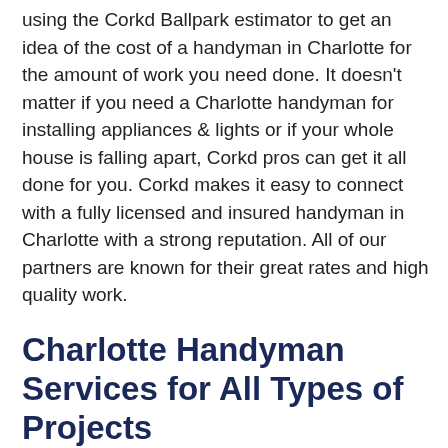using the Corkd Ballpark estimator to get an idea of the cost of a handyman in Charlotte for the amount of work you need done. It doesn't matter if you need a Charlotte handyman for installing appliances & lights or if your whole house is falling apart, Corkd pros can get it all done for you. Corkd makes it easy to connect with a fully licensed and insured handyman in Charlotte with a strong reputation. All of our partners are known for their great rates and high quality work.
Charlotte Handyman Services for All Types of Projects
Hire a low cost handyman in Charlotte for all types of residential and commercial projects including acoustic: ceilings, assembling factory furniture,